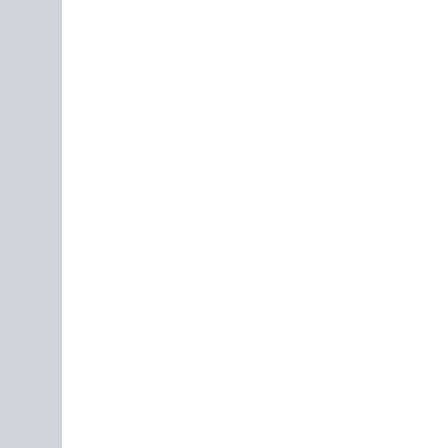while a full scan is a better choice.
The "Out of Range" condition can be prevented by using the new copy table statistics procedure available in Oracle Database10.2.0.4 and 11g. This procedure copies the statistics of